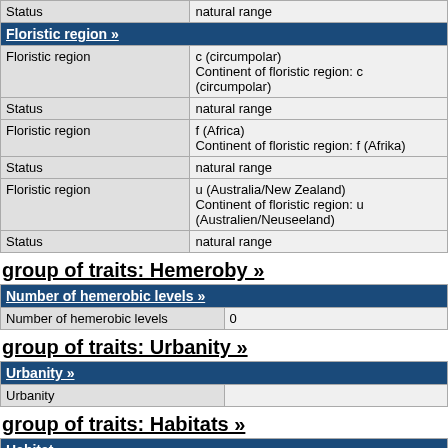|  |  |
| --- | --- |
| Status | natural range |
| Floristic region » |  |
| Floristic region | c (circumpolar)
Continent of floristic region: c (circumpolar) |
| Status | natural range |
| Floristic region | f (Africa)
Continent of floristic region: f (Afrika) |
| Status | natural range |
| Floristic region | u (Australia/New Zealand)
Continent of floristic region: u (Australien/Neuseeland) |
| Status | natural range |
group of traits: Hemeroby »
| Number of hemerobic levels » |  |
| --- | --- |
| Number of hemerobic levels | 0 |
group of traits: Urbanity »
| Urbanity » |  |
| --- | --- |
| Urbanity |  |
group of traits: Habitats »
| Habitat » |  |
| --- | --- |
| Habitat | L3.2 (null)
Alliance: ??? |
| Occurrence questionable | False |